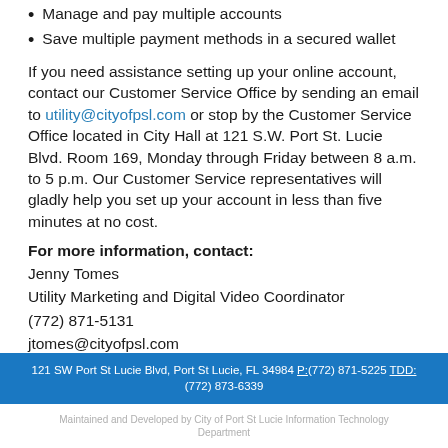Manage and pay multiple accounts
Save multiple payment methods in a secured wallet
If you need assistance setting up your online account, contact our Customer Service Office by sending an email to utility@cityofpsl.com or stop by the Customer Service Office located in City Hall at 121 S.W. Port St. Lucie Blvd. Room 169, Monday through Friday between 8 a.m. to 5 p.m. Our Customer Service representatives will gladly help you set up your account in less than five minutes at no cost.
For more information, contact:
Jenny Tomes
Utility Marketing and Digital Video Coordinator
(772) 871-5131
jtomes@cityofpsl.com
121 SW Port St Lucie Blvd, Port St Lucie, FL 34984 P:(772) 871-5225 TDD: (772) 873-6339
Maintained and Developed by City of Port St Lucie Information Technology Department